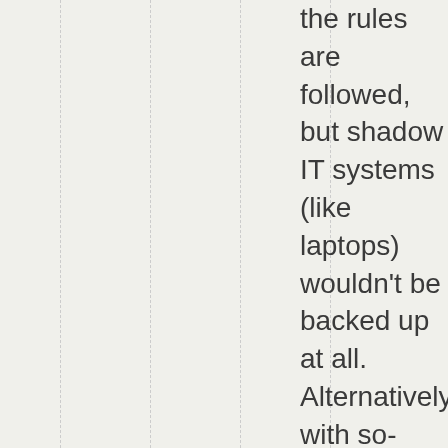the rules are followed, but shadow IT systems (like laptops) wouldn't be backed up at all. Alternatively with so-called “portable” software,